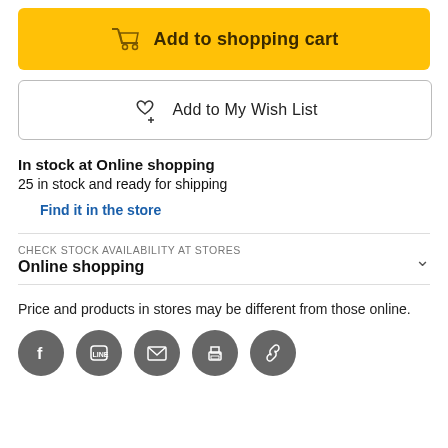[Figure (screenshot): Add to shopping cart button with yellow background and shopping cart icon]
[Figure (screenshot): Add to My Wish List button with heart+plus icon and bordered outline]
In stock at Online shopping
25 in stock and ready for shipping
Find it in the store
CHECK STOCK AVAILABILITY AT STORES
Online shopping
Price and products in stores may be different from those online.
[Figure (infographic): Social sharing icons: Facebook, LINE, Email, Print, Link]